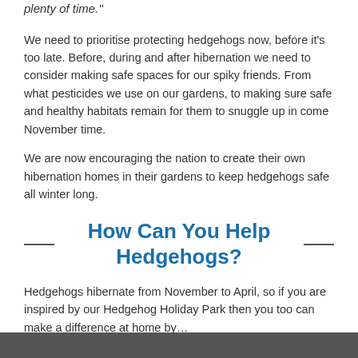plenty of time."
We need to prioritise protecting hedgehogs now, before it's too late. Before, during and after hibernation we need to consider making safe spaces for our spiky friends. From what pesticides we use on our gardens, to making sure safe and healthy habitats remain for them to snuggle up in come November time.
We are now encouraging the nation to create their own hibernation homes in their gardens to keep hedgehogs safe all winter long.
How Can You Help Hedgehogs?
Hedgehogs hibernate from November to April, so if you are inspired by our Hedgehog Holiday Park then you too can make a difference at home by…